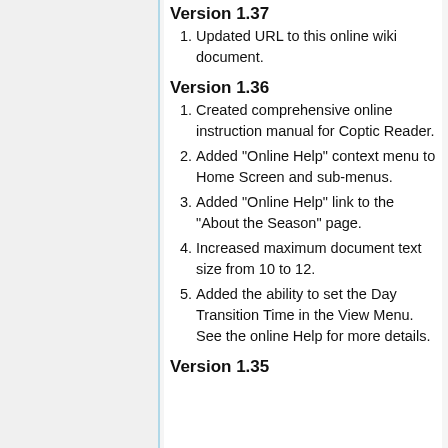Version 1.37
Updated URL to this online wiki document.
Version 1.36
Created comprehensive online instruction manual for Coptic Reader.
Added "Online Help" context menu to Home Screen and sub-menus.
Added "Online Help" link to the "About the Season" page.
Increased maximum document text size from 10 to 12.
Added the ability to set the Day Transition Time in the View Menu. See the online Help for more details.
Version 1.35